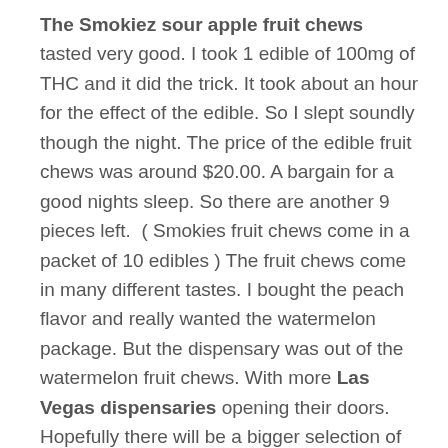The Smokiez sour apple fruit chews tasted very good. I took 1 edible of 100mg of THC and it did the trick. It took about an hour for the effect of the edible. So I slept soundly though the night. The price of the edible fruit chews was around $20.00. A bargain for a good nights sleep. So there are another 9 pieces left.  ( Smokies fruit chews come in a packet of 10 edibles ) The fruit chews come in many different tastes. I bought the peach flavor and really wanted the watermelon package. But the dispensary was out of the watermelon fruit chews. With more Las Vegas dispensaries opening their doors. Hopefully there will be a bigger selection of these wonderful edibles.
if you have not visited a Las Vegas dispensary you need to. There are many wonderful products available from drinks to edibles. Vape pens and